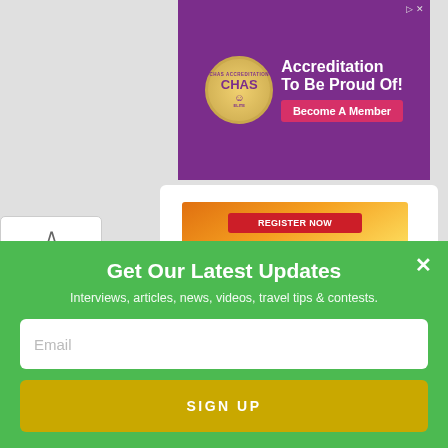[Figure (screenshot): CHAS Accreditation purple banner ad with gold badge and 'Become A Member' pink button]
[Figure (screenshot): Miami Carnival advertisement with orange/yellow gradient and red button showing www.miamicarnival.org]
[Figure (screenshot): Jamaicans Living book/brand image on black background with yellow text]
Get Our Latest Updates
Interviews, articles, news, videos, travel tips & contests.
Email
SIGN UP